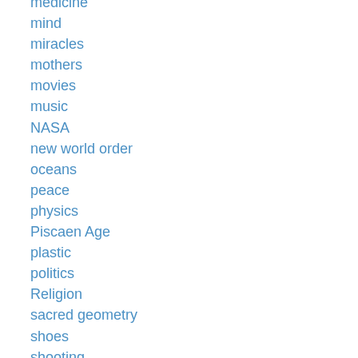medicine
mind
miracles
mothers
movies
music
NASA
new world order
oceans
peace
physics
Piscaen Age
plastic
politics
Religion
sacred geometry
shoes
shooting
smoking
Spiritual